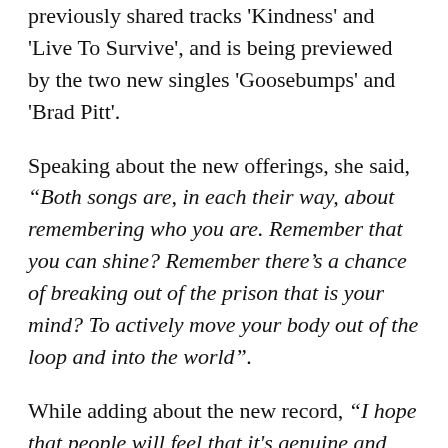previously shared tracks 'Kindness' and 'Live To Survive', and is being previewed by the two new singles 'Goosebumps' and 'Brad Pitt'.
Speaking about the new offerings, she said, “Both songs are, in each their way, about remembering who you are. Remember that you can shine? Remember there’s a chance of breaking out of the prison that is your mind? To actively move your body out of the loop and into the world”.
While adding about the new record, “I hope that people will feel that it's genuine and that there are stories there that they can connect with. For me this album represents a huge change in my